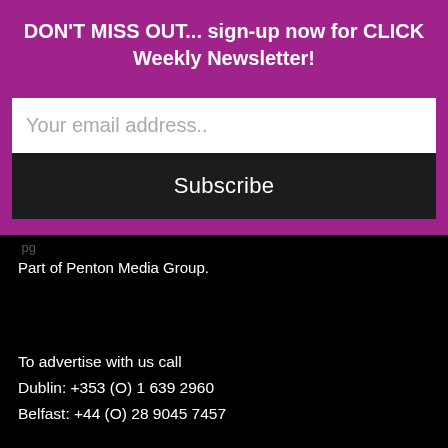DON'T MISS OUT... sign-up now for CLICK Weekly Newsletter!
Your email address..
Subscribe
Part of Penton Media Group.
To advertise with us call
Dublin: +353 (O) 1 639 2960
Belfast: +44 (O) 28 9045 7457